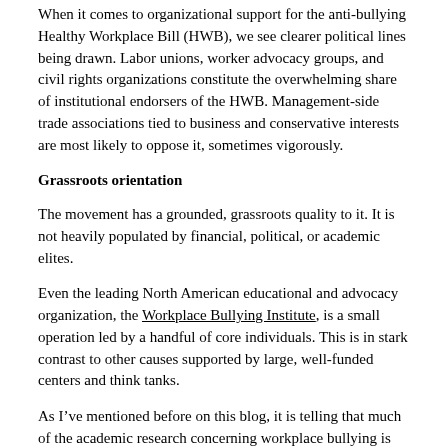When it comes to organizational support for the anti-bullying Healthy Workplace Bill (HWB), we see clearer political lines being drawn. Labor unions, worker advocacy groups, and civil rights organizations constitute the overwhelming share of institutional endorsers of the HWB. Management-side trade associations tied to business and conservative interests are most likely to oppose it, sometimes vigorously.
Grassroots orientation
The movement has a grounded, grassroots quality to it. It is not heavily populated by financial, political, or academic elites.
Even the leading North American educational and advocacy organization, the Workplace Bullying Institute, is a small operation led by a handful of core individuals. This is in stark contrast to other causes supported by large, well-funded centers and think tanks.
As I’ve mentioned before on this blog, it is telling that much of the academic research concerning workplace bullying is produced by professors at regional and state colleges and universities, not the Ivy League or its equivalents. Many of these professors have had a fair amount of work experience before becoming full-time academics, and